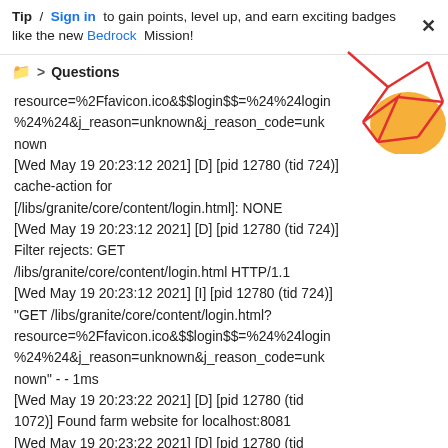Tip / Sign in to gain points, level up, and earn exciting badges like the new Bedrock Mission!
Questions
resource=%2Ffavicon.ico&$$login$$=%24%24login%24%24&j_reason=unknown&j_reason_code=unknown
[Wed May 19 20:23:12 2021] [D] [pid 12780 (tid 724)] cache-action for [/libs/granite/core/content/login.html]: NONE
[Wed May 19 20:23:12 2021] [D] [pid 12780 (tid 724)] Filter rejects: GET /libs/granite/core/content/login.html HTTP/1.1
[Wed May 19 20:23:12 2021] [I] [pid 12780 (tid 724)] "GET /libs/granite/core/content/login.html?resource=%2Ffavicon.ico&$$login$$=%24%24login%24%24&j_reason=unknown&j_reason_code=unknown" - - 1ms
[Wed May 19 20:23:22 2021] [D] [pid 12780 (tid 1072)] Found farm website for localhost:8081
[Wed May 19 20:23:22 2021] [D] [pid 12780 (tid